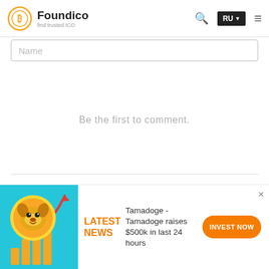Foundico — find trusted ICO
Name
Be the first to comment.
Subscribe  Add Disqus  Do Not Sell My Data  DISQUS
[Figure (illustration): Cartoon dog coin with bar chart and upward arrow on cyan background]
LATEST NEWS
Tamadoge - Tamadoge raises $500k in last 24 hours
INVEST NOW